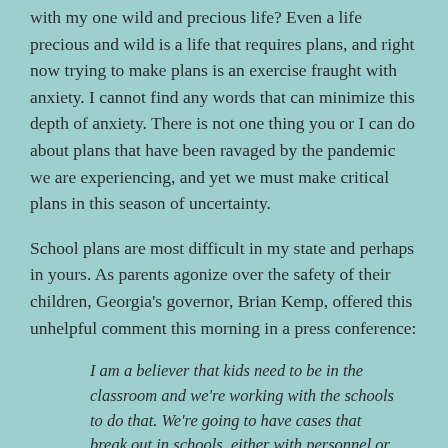with my one wild and precious life? Even a life precious and wild is a life that requires plans, and right now trying to make plans is an exercise fraught with anxiety. I cannot find any words that can minimize this depth of anxiety. There is not one thing you or I can do about plans that have been ravaged by the pandemic we are experiencing, and yet we must make critical plans in this season of uncertainty.
School plans are most difficult in my state and perhaps in yours. As parents agonize over the safety of their children, Georgia's governor, Brian Kemp, offered this unhelpful comment this morning in a press conference:
I am a believer that kids need to be in the classroom and we're working with the schools to do that. We're going to have cases that break out in schools, either with personnel or perhaps students, just like you do with a stomach bug or a flu or anything else. Our schools know how to handle those